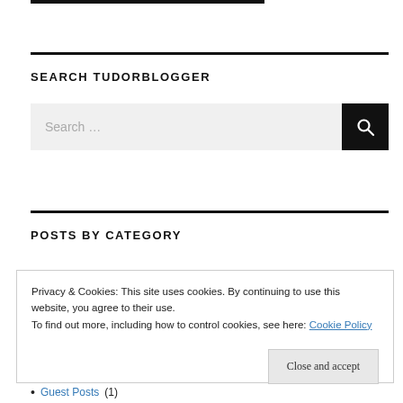SEARCH TUDORBLOGGER
[Figure (other): Search input box with text 'Search ...' and a black search button with magnifying glass icon]
POSTS BY CATEGORY
Privacy & Cookies: This site uses cookies. By continuing to use this website, you agree to their use.
To find out more, including how to control cookies, see here: Cookie Policy
Close and accept
Guest Posts (1)